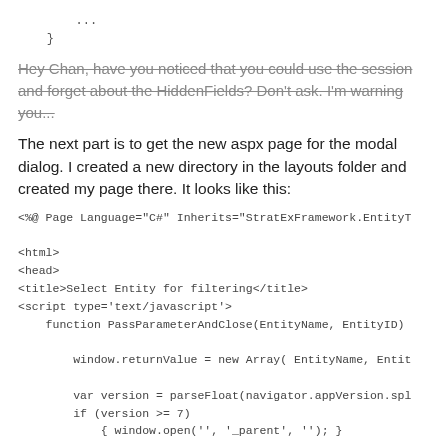...
    }
Hey Chan, have you noticed that you could use the session and forget about the HiddenFields? Don't ask. I'm warning you...
The next part is to get the new aspx page for the modal dialog. I created a new directory in the layouts folder and created my page there. It looks like this:
<%@ Page Language="C#" Inherits="StratExFramework.EntityT

<html>
<head>
<title>Select Entity for filtering</title>
<script type='text/javascript'>
    function PassParameterAndClose(EntityName, EntityID)

        window.returnValue = new Array( EntityName, Entit

        var version = parseFloat(navigator.appVersion.spl
        if (version >= 7)
            { window.open('', '_parent', ''); }